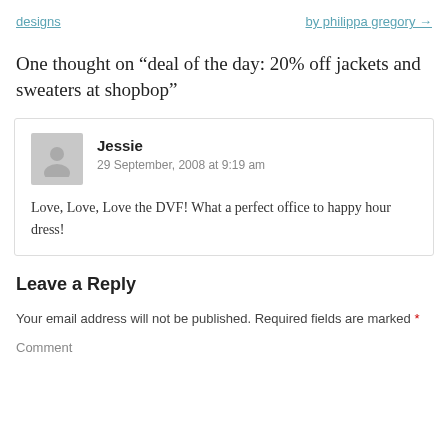designs   by philippa gregory →
One thought on “deal of the day: 20% off jackets and sweaters at shopbop”
Jessie
29 September, 2008 at 9:19 am

Love, Love, Love the DVF! What a perfect office to happy hour dress!
Leave a Reply
Your email address will not be published. Required fields are marked *
Comment